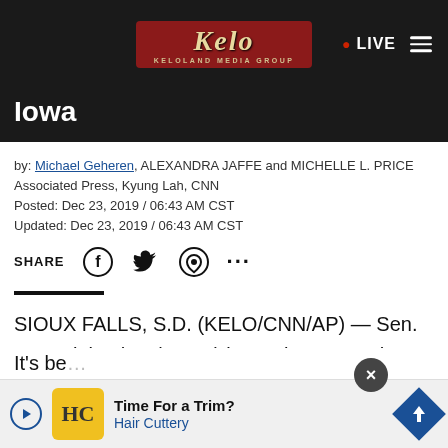KELOLAND Media Group - LIVE
Iowa
by: Michael Geheren, ALEXANDRA JAFFE and MICHELLE L. PRICE Associated Press, Kyung Lah, CNN
Posted: Dec 23, 2019 / 06:43 AM CST
Updated: Dec 23, 2019 / 06:43 AM CST
SHARE
SIOUX FALLS, S.D. (KELO/CNN/AP) — Sen. Amy Klobuchar (D-MN) is coming to South Dakota on Monday.
It's be...ential
[Figure (screenshot): Advertisement banner for Hair Cuttery - Time For a Trim?]